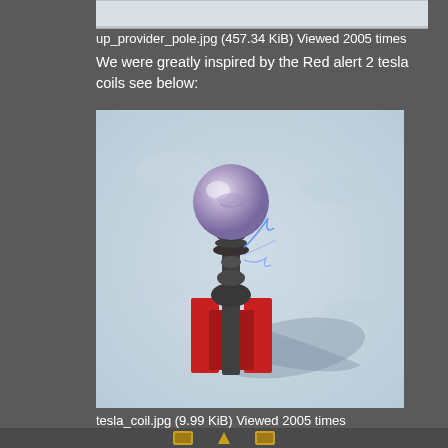[Figure (screenshot): Partial view of an image at the very top of the page (cropped)]
up_provider_pole.jpg (457.34 KiB) Viewed 2005 times
We were greatly inspired by the Red alert 2 tesla coils see below:
[Figure (photo): A 3D rendered image of a Tesla coil from the video game Red Alert 2, showing a device with a metallic sphere on top mounted on a red base, standing on a light blue snowy ground with a shadow cast to the right.]
tesla_coil.jpg (9.99 KiB) Viewed 2005 times